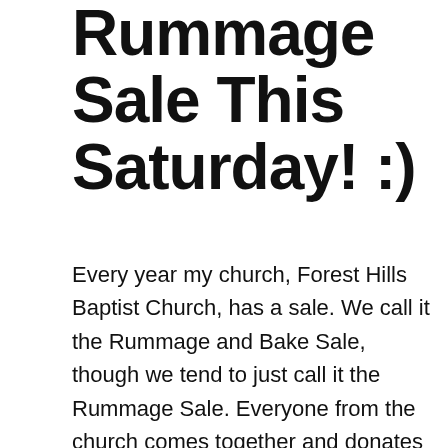Rummage Sale This Saturday! :)
Every year my church, Forest Hills Baptist Church, has a sale. We call it the Rummage and Bake Sale, though we tend to just call it the Rummage Sale. Everyone from the church comes together and donates unwanted things: old clothes, furniture, various holiday decorations, and much more. Then who ever wants to volunteer gets to help organize stuff, make it neat, and then help during the sale. A lot of us teen students help, because this sale is key to one of the biggest events of youth group: the Brazil Trip. My youth pastor has said that this is